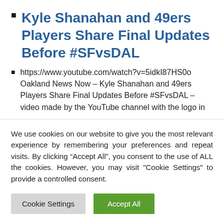Kyle Shanahan and 49ers Players Share Final Updates Before #SFvsDAL
https://www.youtube.com/watch?v=5idkI87HS0o Oakland News Now – Kyle Shanahan and 49ers Players Share Final Updates Before #SFvsDAL – video made by the YouTube channel with the logo in
We use cookies on our website to give you the most relevant experience by remembering your preferences and repeat visits. By clicking “Accept All”, you consent to the use of ALL the cookies. However, you may visit "Cookie Settings" to provide a controlled consent.